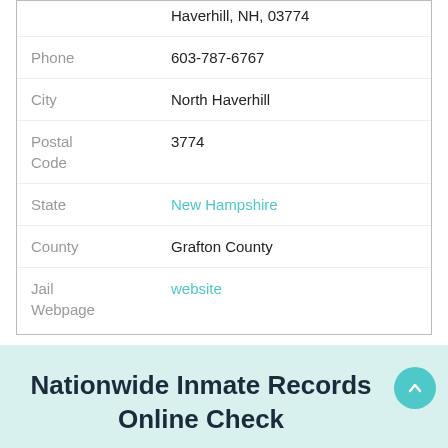| Field | Value |
| --- | --- |
|  | Haverhill, NH, 03774 |
| Phone | 603-787-6767 |
| City | North Haverhill |
| Postal Code | 3774 |
| State | New Hampshire |
| County | Grafton County |
| Jail Webpage | website |
Nationwide Inmate Records Online Check